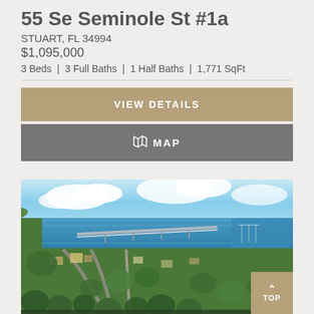55 Se Seminole St #1a
STUART, FL 34994
$1,095,000
3 Beds | 3 Full Baths | 1 Half Baths | 1,771 SqFt
VIEW DETAILS
MAP
[Figure (photo): Aerial photograph of Stuart, FL showing waterway, bridge, marina, and urban/suburban landscape with green tree canopy and blue sky with clouds]